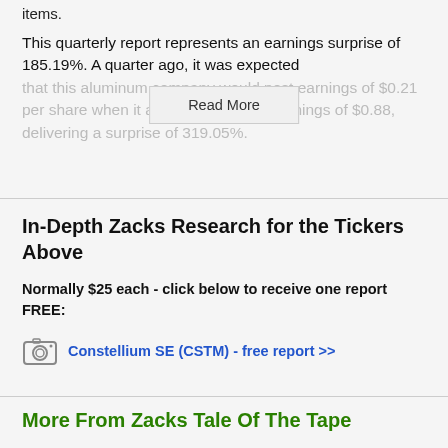items.
This quarterly report represents an earnings surprise of 185.19%. A quarter ago, it was expected that this aluminum company would post earnings of $0.21 per share when it actually produced earnings of $0.88, delivering a surprise of [x].05%.
Read More
In-Depth Zacks Research for the Tickers Above
Normally $25 each - click below to receive one report FREE:
Constellium SE (CSTM) - free report >>
More From Zacks Tale Of The Tape